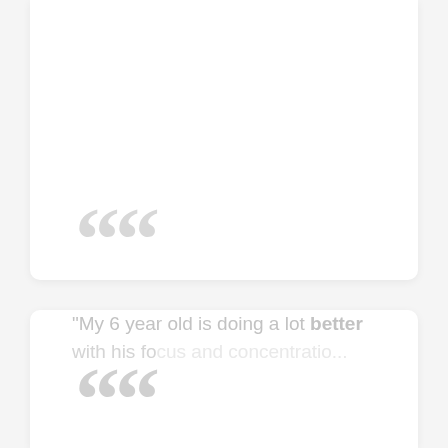“My 6 year old is doing a lot better with his focus and concentration this...
[Figure (illustration): Large decorative quotation mark symbol in light gray, positioned in the lower card section]